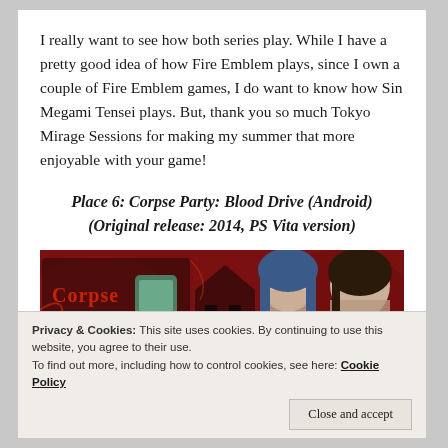I really want to see how both series play. While I have a pretty good idea of how Fire Emblem plays, since I own a couple of Fire Emblem games, I do want to know how Sin Megami Tensei plays. But, thank you so much Tokyo Mirage Sessions for making my summer that more enjoyable with your game!
Place 6: Corpse Party: Blood Drive (Android) (Original release: 2014, PS Vita version)
[Figure (photo): Banner image for Corpse Party Blood Drive game, showing anime characters and the game logo on a dark red background]
Privacy & Cookies: This site uses cookies. By continuing to use this website, you agree to their use.
To find out more, including how to control cookies, see here: Cookie Policy